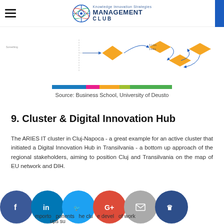Knowledge Innovation Strategies Management Club
[Figure (schematic): Partial view of a flowchart/diagram with yellow diamond shapes and blue arrows on white background, from Business School University of Deusto]
Source: Business School, University of Deusto
9. Cluster & Digital Innovation Hub
The ARIES IT cluster in Cluj-Napoca - a great example for an active cluster that initiated a Digital Innovation Hub in Transilvania - a bottom up approach of the regional stakeholders, aiming to position Cluj and Transilvania on the map of EU network and DIH.
mporto ponents he clu e devel of work ups su